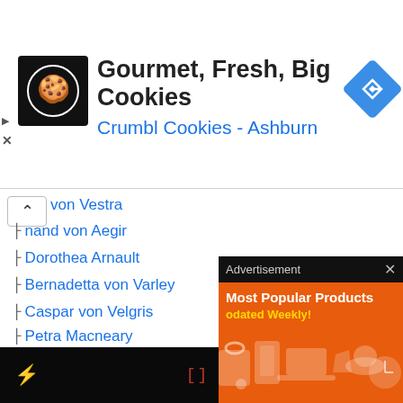[Figure (screenshot): Top advertisement banner for Crumbl Cookies - Ashburn showing logo, title 'Gourmet, Fresh, Big Cookies', subtitle 'Crumbl Cookies - Ashburn', and a blue navigation arrow icon]
von Vestra (partial, collapsed)
nand von Aegir
Dorothea Arnault
Bernadetta von Varley
Caspar von Velgris
Petra Macneary
Linhardt von Hevring
Blue Lions House
Dimitri Alexandre Blaiddyd
Dedue Molinaro
Felix Fraldarius
[Figure (screenshot): Advertisement popup overlay with orange background showing 'Most Popular Products' and 'Updated Weekly!' text with product icons]
[Figure (screenshot): Bottom dark toolbar with red S icon, red bracket icon [], and a close circle button]